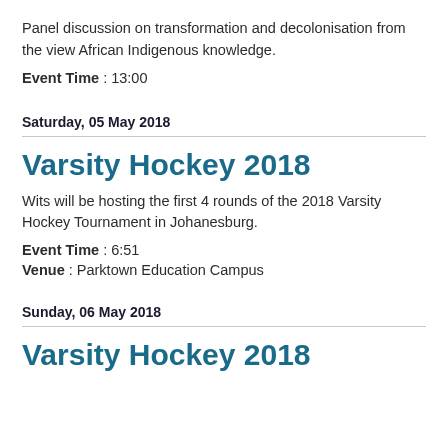Panel discussion on transformation and decolonisation from the view African Indigenous knowledge.
Event Time : 13:00
Saturday, 05 May 2018
Varsity Hockey 2018
Wits will be hosting the first 4 rounds of the 2018 Varsity Hockey Tournament in Johanesburg.
Event Time : 6:51
Venue : Parktown Education Campus
Sunday, 06 May 2018
Varsity Hockey 2018